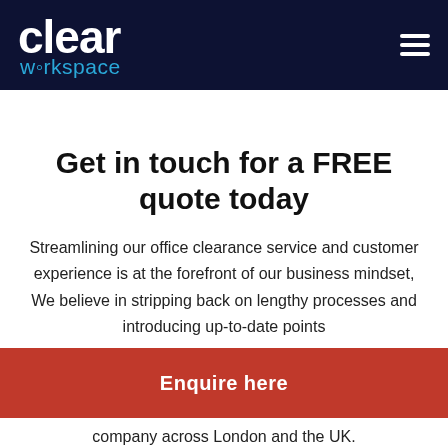[Figure (logo): Clear Workspace logo — white bold 'clear' text and blue 'workspace' text on dark navy background, with hamburger menu icon top right]
Get in touch for a FREE quote today
Streamlining our office clearance service and customer experience is at the forefront of our business mindset, We believe in stripping back on lengthy processes and introducing up-to-date points
Enquire here
company across London and the UK.